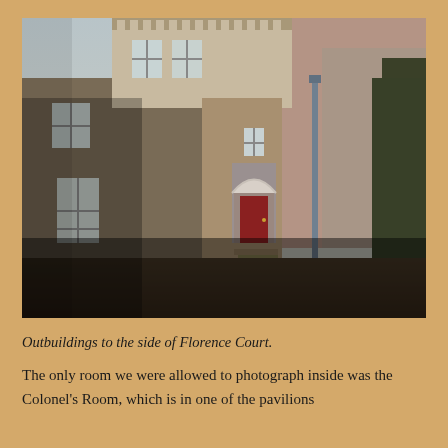[Figure (photo): Photograph of outbuildings to the side of Florence Court, showing stone walls, a doorway with a white arched surround and red door, steps leading up to the entrance, windows, and a drainpipe. Trees and a large plain wall visible.]
Outbuildings to the side of Florence Court.
The only room we were allowed to photograph inside was the Colonel's Room, which is in one of the pavilions